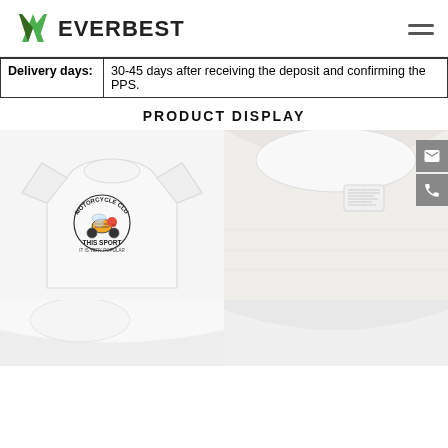EVERBEST
| Delivery days: | 30-45 days after receiving the deposit and confirming the PPS. |
PRODUCT DISPLAY
[Figure (photo): White t-shirt with Motorcycle Club graphic print showing a bee on a motorcycle with text 'THIS SPORT IT IS VERY POPULAR']
[Figure (photo): Close-up of white t-shirt collar and care label tag]
[Figure (photo): Partial view of white t-shirt bottom left]
[Figure (photo): Partial view of white t-shirt bottom right]